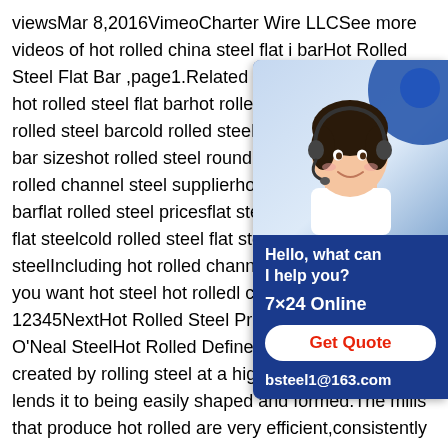viewsMar 8,2016VimeoCharter Wire LLCSee more videos of hot rolled china steel flat i barHot Rolled Steel Flat Bar ,page1.Related searches for grade 36 hot rolled steel flat barhot rolled steel gradeshot rolled steel barcold rolled steel flat barhot rolled steel bar sizeshot rolled steel round barfor flat steel hot rolled channel steel supplierhot rolled steel flat barflat rolled steel pricesflat steel productscold rolled flat steelcold rolled steel flat stockwhat is as rolled steelIncluding hot rolled channel steel suppliers.Do you want hot steel hot rolledl channel steel supplier?12345NextHot Rolled Steel Products and Processing O'Neal SteelHot Rolled Defined.Hot rolled steel is created by rolling steel at a high temperature that lends it to being easily shaped and formed.The mills that produce hot rolled are very efficient,consistently
[Figure (other): Customer service chat widget with a photo of a smiling woman wearing a headset, dark blue background, text 'Hello, what can I help you?', '7×24 Online', 'Get Quote' button in red, and email 'bsteel1@163.com']